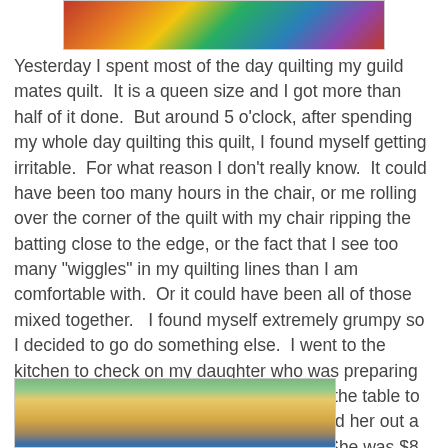[Figure (photo): Colorful quilt photo at the top of the page, cropped]
Yesterday I spent most of the day quilting my guild mates quilt.  It is a queen size and I got more than half of it done.  But around 5 o'clock, after spending my whole day quilting this quilt, I found myself getting irritable.  For what reason I don't really know.  It could have been too many hours in the chair, or me rolling over the corner of the quilt with my chair ripping the batting close to the edge, or the fact that I see too many "wiggles" in my quilting lines than I am comfortable with.  Or it could have been all of those mixed together.   I found myself extremely grumpy so I decided to go do something else.  I went to the kitchen to check on my daughter who was preparing dinner and I brought my Mon Ami quilt to the table to baste it while I chatted with her and helped her out a little.  --    My daughter and I have deal:  She was $8 short of buying some clothes she wanted.  So I told her I would pay the $8 if she would cook 8 meals for us.  She agreed, I was excited.  :)
[Figure (photo): Yellow/gold quilt displayed outdoors on a fence or railing, partial view at bottom of page]